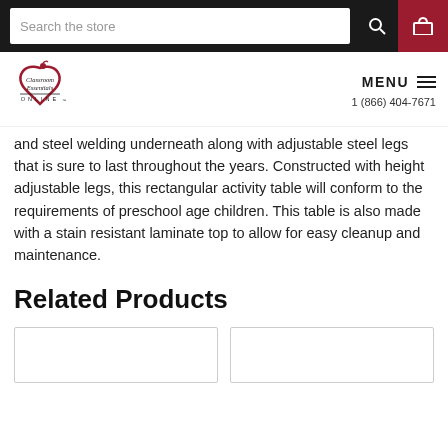Search the store  MENU  1 (866) 404-7671
[Figure (logo): Classroom Essentials Online logo - heart shape with apple, text 'Classroom Essentials ONLINE']
and steel welding underneath along with adjustable steel legs that is sure to last throughout the years. Constructed with height adjustable legs, this rectangular activity table will conform to the requirements of preschool age children. This table is also made with a stain resistant laminate top to allow for easy cleanup and maintenance.
Related Products